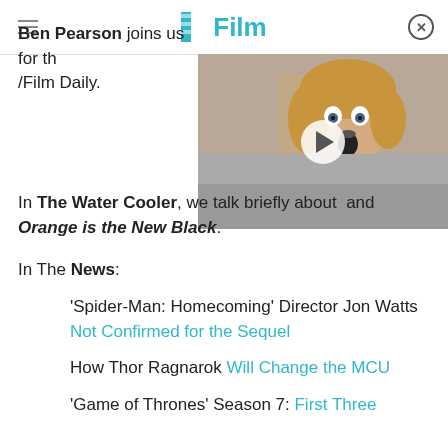/Film
[Figure (photo): Video thumbnail showing a surprised man with wide eyes and open mouth, with a play button overlay]
Ben Pearson joins us for th /Film Daily.
In The Water Cooler, we talk briefly about and Orange is the New Black.
In The News:
'Spider-Man: Homecoming' Director Jon Watts Not Confirmed for the Sequel
How Thor Ragnarok Will Change the MCU
'Game of Thrones' Season 7: First Three